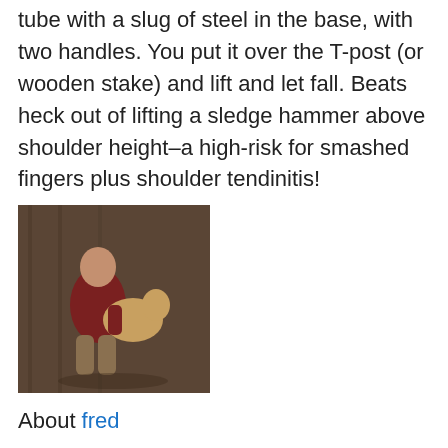tube with a slug of steel in the base, with two handles. You put it over the T-post (or wooden stake) and lift and let fall. Beats heck out of lifting a sledge hammer above shoulder height–a high-risk for smashed fingers plus shoulder tendinitis!
[Figure (photo): A man sitting and holding a dog, photographed outdoors near a wooden structure]
About fred
Fred First holds masters degrees in Vertebrate Zoology and physical therapy, and has been a biology teacher and physical therapist by profession. He moved to southwest Virginia in 1975 and to Floyd County in 1997. He maintains a daily photo-blog, broadcasts essays on the